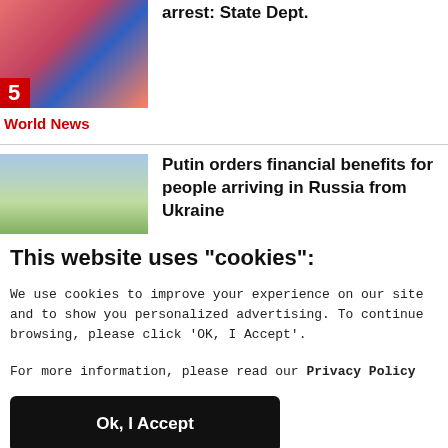[Figure (photo): Photo of a person in traditional/colorful costume with a number 5 badge in red at the bottom left]
arrest: State Dept.
World News
[Figure (photo): Outdoor nature/landscape photo with trees and sky]
Putin orders financial benefits for people arriving in Russia from Ukraine
This website uses "cookies":
We use cookies to improve your experience on our site and to show you personalized advertising. To continue browsing, please click ‘OK, I Accept’.
For more information, please read our Privacy Policy
Ok, I Accept